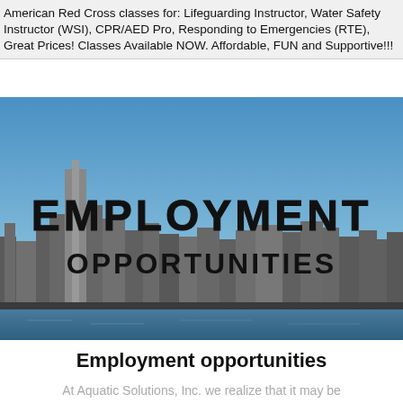American Red Cross classes for: Lifeguarding Instructor, Water Safety Instructor (WSI), CPR/AED Pro, Responding to Emergencies (RTE), Great Prices! Classes Available NOW. Affordable, FUN and Supportive!!!
[Figure (photo): City skyline over water with large bold text overlay reading EMPLOYMENT OPPORTUNITIES]
Employment opportunities
At Aquatic Solutions, Inc. we realize that it may be